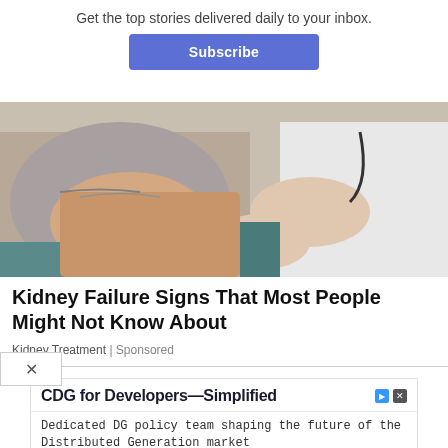Get the top stories delivered daily to your inbox.
Subscribe
[Figure (photo): Medical examination scene: a doctor in a white coat pressing on a patient's abdomen/back area. The patient appears to be wearing a grey top and is seated.]
Kidney Failure Signs That Most People Might Not Know About
Kidney Treatment | Sponsored
CDG for Developers—Simplified
Dedicated DG policy team shaping the future of the Distributed Generation market
Ampion Renweable Energy
Apply Now